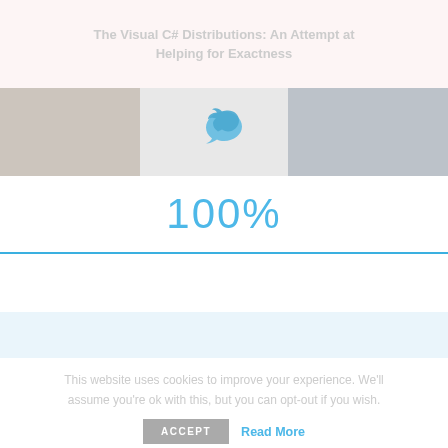The Visual C# Distributions: An Attempt at Helping for Exactness
[Figure (photo): Website banner with blurred/faded photos on left and right, and a Twitter bird icon in the center]
100%
This website uses cookies to improve your experience. We'll assume you're ok with this, but you can opt-out if you wish.
ACCEPT   Read More